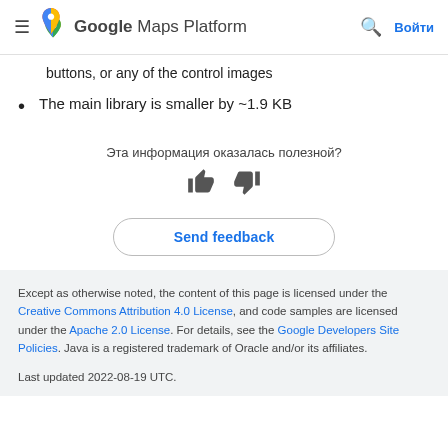Google Maps Platform
buttons, or any of the control images
The main library is smaller by ~1.9 KB
Эта информация оказалась полезной?
Send feedback
Except as otherwise noted, the content of this page is licensed under the Creative Commons Attribution 4.0 License, and code samples are licensed under the Apache 2.0 License. For details, see the Google Developers Site Policies. Java is a registered trademark of Oracle and/or its affiliates.

Last updated 2022-08-19 UTC.